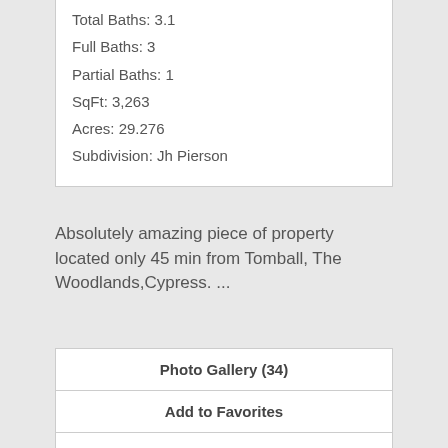Total Baths: 3.1
Full Baths: 3
Partial Baths: 1
SqFt: 3,263
Acres: 29.276
Subdivision: Jh Pierson
Absolutely amazing piece of property located only 45 min from Tomball, The Woodlands,Cypress. ...
Photo Gallery (34)
Add to Favorites
View Details
[Figure (photo): Dark blue photo strip at bottom of page, partially visible]